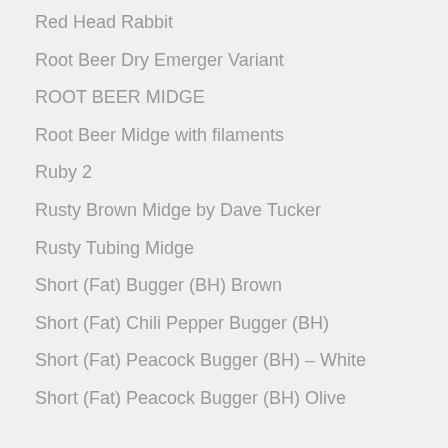Red Head Rabbit
Root Beer Dry Emerger Variant
ROOT BEER MIDGE
Root Beer Midge with filaments
Ruby 2
Rusty Brown Midge by Dave Tucker
Rusty Tubing Midge
Short (Fat) Bugger (BH) Brown
Short (Fat) Chili Pepper Bugger (BH)
Short (Fat) Peacock Bugger (BH) – White
Short (Fat) Peacock Bugger (BH) Olive